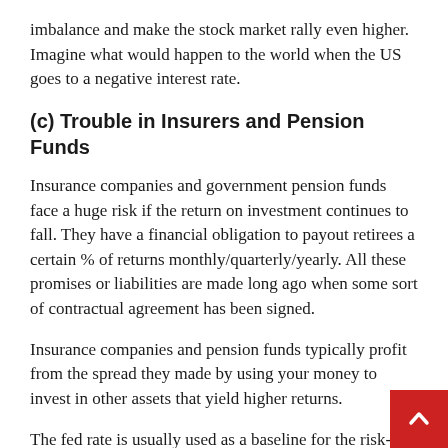imbalance and make the stock market rally even higher. Imagine what would happen to the world when the US goes to a negative interest rate.
(c) Trouble in Insurers and Pension Funds
Insurance companies and government pension funds face a huge risk if the return on investment continues to fall. They have a financial obligation to payout retirees a certain % of returns monthly/quarterly/yearly. All these promises or liabilities are made long ago when some sort of contractual agreement has been signed.
Insurance companies and pension funds typically profit from the spread they made by using your money to invest in other assets that yield higher returns.
The fed rate is usually used as a baseline for the risk-f rate. If it falls, the yield of other asset class such as bo and equities would likely fall. The trouble comes now when